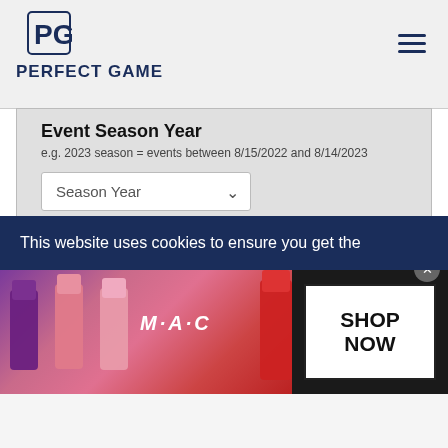PERFECT GAME
Event Season Year
e.g. 2023 season = events between 8/15/2022 and 8/14/2023
Season Year (dropdown)
Sport Type
Baseball (selected)
Softball
Submit
This website uses cookies to ensure you get the
[Figure (photo): MAC Cosmetics advertisement showing lipsticks with SHOP NOW button]